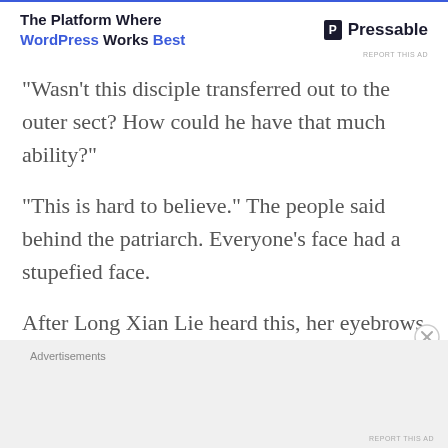[Figure (other): Advertisement banner: 'The Platform Where WordPress Works Best' with Pressable logo]
“Wasn’t this disciple transferred out to the outer sect? How could he have that much ability?”
“This is hard to believe.” The people said behind the patriarch. Everyone’s face had a stupefied face.
After Long Xian Lie heard this, her eyebrows wrinkled for a second. Then she responded, “I am not sure if it is him. I can only verify it in a meeting with him face to face!”
[Figure (other): Advertisements footer banner area with grey background]